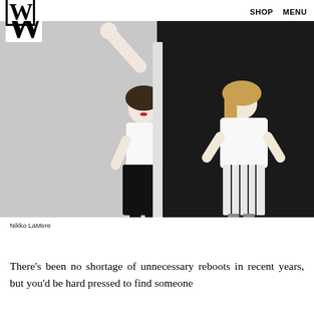W   SHOP   MENU
[Figure (photo): Two women posing against a split gray and black background. Left woman in white top and black leather skirt with one arm raised; right woman in white blouse and striped skirt with hands on hips.]
Nikko LaMere
There’s been no shortage of unnecessary reboots in recent years, but you’d be hard pressed to find someone